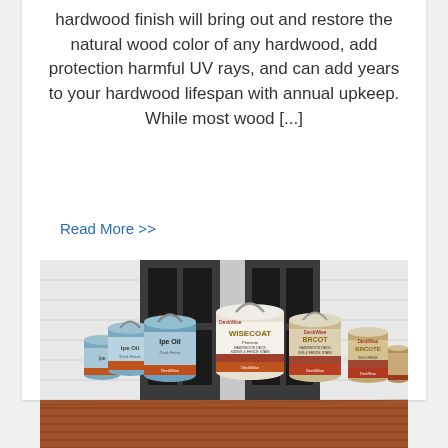hardwood finish will bring out and restore the natural wood color of any hardwood, add protection harmful UV rays, and can add years to your hardwood lifespan with annual upkeep. While most wood [...]
Read More >>
[Figure (photo): Photo of multiple DeckWise wood finishing product cans (including Ipe Oil and WiseCoat Hardwood Deck Siding & Fence Stain) arranged on a hardwood deck in front of a house door.]